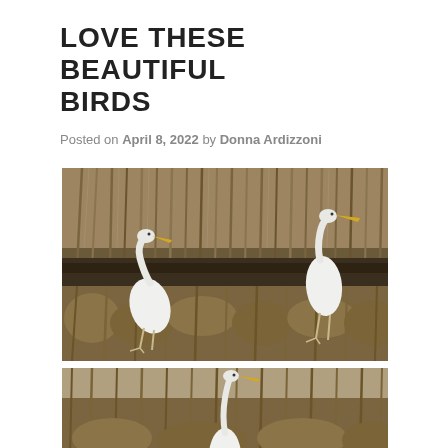LOVE THESE BEAUTIFUL BIRDS
Posted on April 8, 2022 by Donna Ardizzoni
[Figure (photo): Two great white egrets standing among tall dry brown marsh grasses. One egret is in the lower left, one on the right side, both with yellow beaks and white plumage.]
[Figure (photo): Partial view of a great white egret standing among dry brown marsh grasses, cropped at the bottom of the page, showing the bird's upper body and head with yellow beak.]